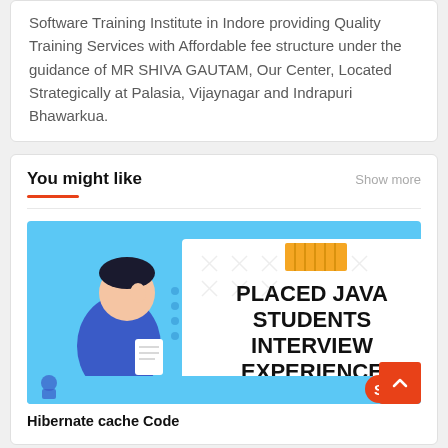Software Training Institute in Indore providing Quality Training Services with Affordable fee structure under the guidance of MR SHIVA GAUTAM, Our Center, Located Strategically at Palasia, Vijaynagar and Indrapuri Bhawarkua.
You might like
Show more
[Figure (illustration): Article thumbnail showing a cartoon person in blue holding papers, next to text reading 'PLACED JAVA STUDENTS INTERVIEW EXPERIENCE' on a light blue background with decorative elements and a logo in the bottom right.]
Hibernate cache Code